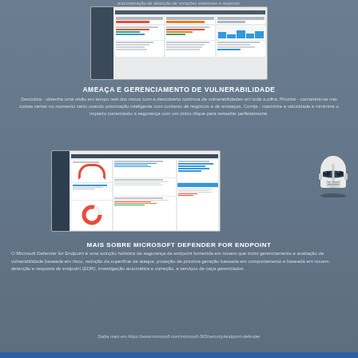automatização de detecção de violações anteriores e resposta.
[Figure (screenshot): Microsoft Defender dashboard screenshot showing security alerts and threat information]
AMEAÇA E GERENCIAMENTO DE VULNERABILIDADE
Descubra - obtenha uma visão em tempo real dos riscos com a descoberta contínua de vulnerabilidades em toda a pilha. Priorize - concentre-se nas coisas certas no momento certo usando priorização inteligente com contexto de negócios e de ameaças. Corrija - maximize a velocidade e minimize o impacto conectando a segurança com um único clique para remediar perfeitamente.
[Figure (screenshot): Threat & Vulnerability Management dashboard screenshot with donut chart]
[Figure (illustration): Stormtrooper helmet illustration]
MAIS SOBRE MICROSOFT DEFENDER FOR ENDPOINT
O Microsoft Defender for Endpoint é uma solução holística de segurança de endpoint fornecida em nuvem que inclui gerenciamento e avaliação de vulnerabilidade baseada em risco, redução da superfície de ataque, proteção de próxima geração baseada em comportamento e baseada em nuvem, detecção e resposta de endpoint (EDR), investigação automática e correção, e serviços de caça gerenciados.
Saiba mais em https://www.microsoft.com/microsoft-365/security/endpoint-defender